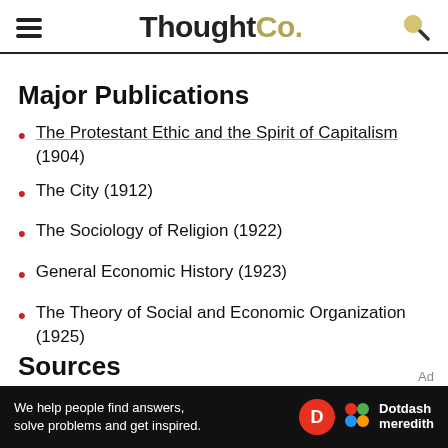ThoughtCo.
Major Publications
The Protestant Ethic and the Spirit of Capitalism (1904)
The City (1912)
The Sociology of Religion (1922)
General Economic History (1923)
The Theory of Social and Economic Organization (1925)
Sources
We help people find answers, solve problems and get inspired. Dotdash meredith